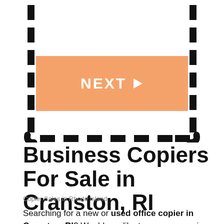[Figure (other): Dashed rectangular border frame with NEXT button inside]
Business Copiers For Sale in Cranston, RI
Copier Sales in Rhode Island
Searching for a new or used office copier in Cranston, RI? Would you like to compare copier prices? Are you considering a copier rental or copier